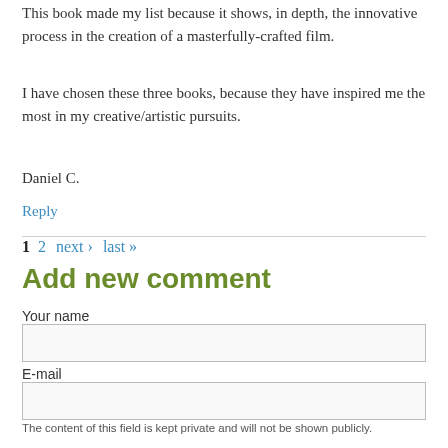This book made my list because it shows, in depth, the innovative process in the creation of a masterfully-crafted film.
I have chosen these three books, because they have inspired me the most in my creative/artistic pursuits.
Daniel C.
Reply
1  2  next ›  last »
Add new comment
Your name
E-mail
The content of this field is kept private and will not be shown publicly.
Homepage